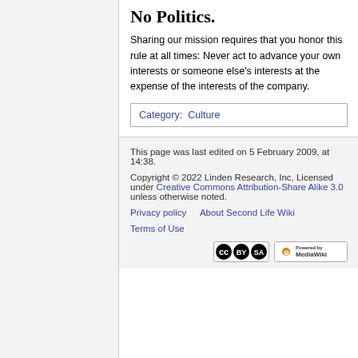No Politics.
Sharing our mission requires that you honor this rule at all times: Never act to advance your own interests or someone else's interests at the expense of the interests of the company.
Category: Culture
This page was last edited on 5 February 2009, at 14:38.
Copyright © 2022 Linden Research, Inc. Licensed under Creative Commons Attribution-Share Alike 3.0 unless otherwise noted.
Privacy policy    About Second Life Wiki
Terms of Use